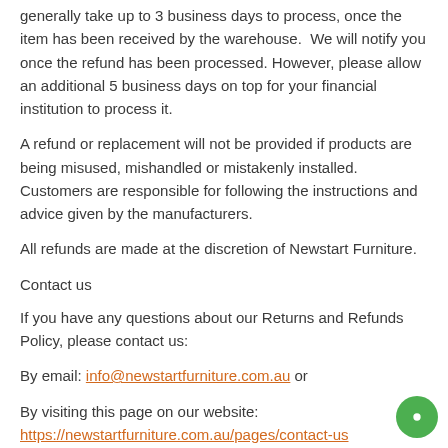generally take up to 3 business days to process, once the item has been received by the warehouse. We will notify you once the refund has been processed. However, please allow an additional 5 business days on top for your financial institution to process it.
A refund or replacement will not be provided if products are being misused, mishandled or mistakenly installed. Customers are responsible for following the instructions and advice given by the manufacturers.
All refunds are made at the discretion of Newstart Furniture.
Contact us
If you have any questions about our Returns and Refunds Policy, please contact us:
By email: info@newstartfurniture.com.au or
By visiting this page on our website:
https://newstartfurniture.com.au/pages/contact-us